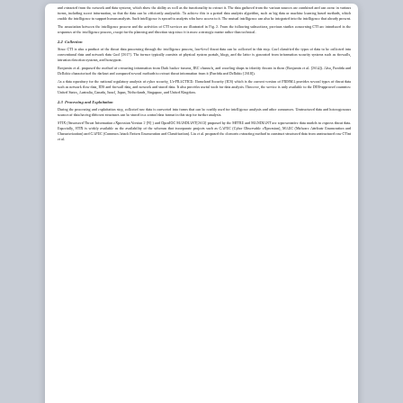and extracted from the network and data systems, which show the ability as well as the functionality to extract it. The data gathered from the various sources are combined and can come in various forms, including secret information, so that the data can be efficiently analyzable. To achieve this is a period data analysis algorithm, such as big data or machine learning based methods, which enable the intelligence to support human analysts. Such intelligence is spread to analysts who have access to it. The mutual intelligence can also be integrated into the intelligence that already present.
The association between the intelligence process and the activities of CTI services are illustrated in Fig. 2. From the following subsections, previous studies concerning CTI are introduced in the responses of the intelligence process, except for the planning and direction step since it is more a strategic matter rather than technical.
2.2 Collection
Since CTI is also a product of the threat data processing through the intelligence process, low-level threat data can be collected in this step. Goel classified the types of data to be collected into conventional data and network data Goel [2017]. The former typically consists of physical system portals, blogs, and the latter is generated from information security systems such as firewalls, intrusion detection systems, and honeypots.
Benjamin et al. proposed the method of extracting information from Dark hacker forums, IRC channels, and crawling shops to identify threats in them (Benjamin et al. [2014]). Also, Ponfida and DeRobie characterized the darknet and compared several methods to extract threat information from it (Ponfida and DeRobie [2018]).
As a data repository for the national regulatory analysis of cyber security, IA-PRACTICE: Homeland Security (ICS) which is the current version of PRISMA provides several types of threat data such as network flow data, IDS and firewall data, and network and stored data. It also provides useful tools for data analysis. However, the service is only available to the DHS-approved countries: United States, Australia, Canada, Israel, Japan, Netherlands, Singapore, and United Kingdom.
2.3 Processing and Exploitation
During the processing and exploitation step, collected raw data is converted into forms that can be readily used for intelligence analysis and other consumers. Unstructured data and heterogeneous sources of data having different structures can be stored in a central data format in this step for further analysis.
STIX (Structured Threat Information eXpression Version 2 [N] ) and OpenIOC MANDIANT[2013] proposed by the MITRE and MANDIANT are representative data models to express threat data. Especially, STIX is widely available as the availability of the schemas that incorporate projects such as CAPEC (Cyber Observable eXpression), MAEC (Malware Attribute Enumeration and Characterization) and CAPEC (Common Attack Pattern Enumeration and Classification). Liu et al. proposed the elements extracting method to construct structured data from unstructured raw CTint et al.
Daegeon Kim, et al. · share